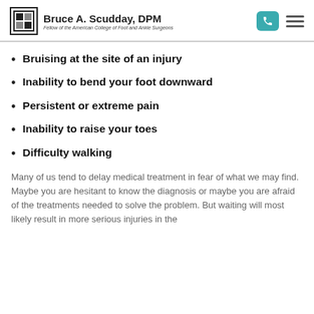Bruce A. Scudday, DPM — Fellow of the American College of Foot and Ankle Surgeons
Bruising at the site of an injury
Inability to bend your foot downward
Persistent or extreme pain
Inability to raise your toes
Difficulty walking
Many of us tend to delay medical treatment in fear of what we may find. Maybe you are hesitant to know the diagnosis or maybe you are afraid of the treatments needed to solve the problem. But waiting will most likely result in more serious injuries in the